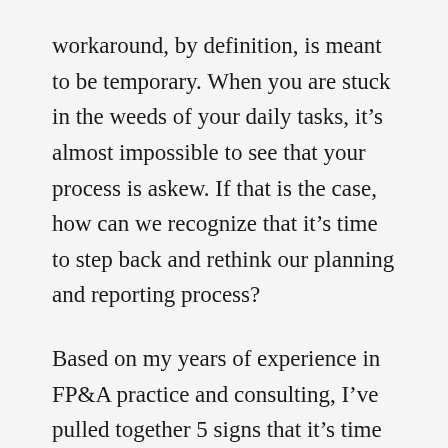workaround, by definition, is meant to be temporary. When you are stuck in the weeds of your daily tasks, it's almost impossible to see that your process is askew. If that is the case, how can we recognize that it's time to step back and rethink our planning and reporting process?
Based on my years of experience in FP&A practice and consulting, I've pulled together 5 signs that it's time to rethink your process. Some of these can be corrected with minor tweaks to our